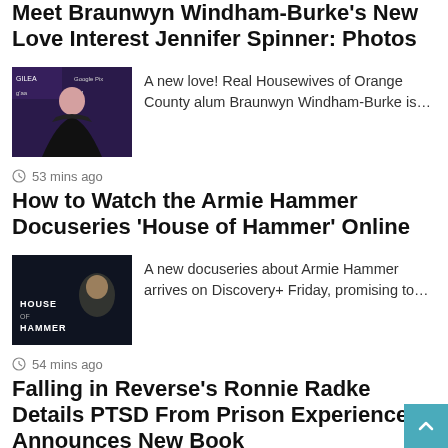Meet Braunwyn Windham-Burke's New Love Interest Jennifer Spinner: Photos
[Figure (photo): Woman in black dress at GLAM/Google Pixel event red carpet]
A new love!  Real Housewives of Orange County alum Braunwyn Windham-Burke is…
53 mins ago
How to Watch the Armie Hammer Docuseries 'House of Hammer' Online
[Figure (photo): House of Hammer docuseries promotional image with dark background and text]
A new docuseries about Armie Hammer arrives on Discovery+ Friday, promising to…
54 mins ago
Falling in Reverse's Ronnie Radke Details PTSD From Prison Experience, Announces New Book
[Figure (photo): Ronnie Radke performing on stage with microphone]
Falling in Reverse frontman Ronnie Radke is ready to share his past…